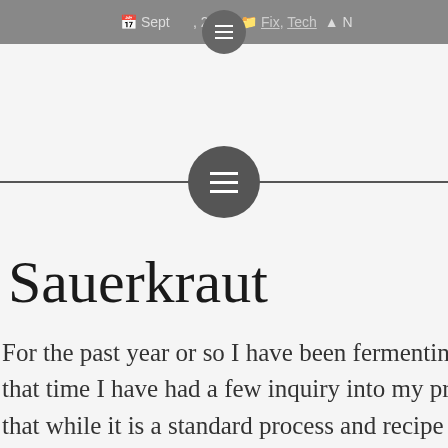Sept [date], 2013  Fix, Tech  N...
[Figure (illustration): Dark grey circular menu/hamburger button icon centered on a horizontal divider line]
Sauerkrau...
For the past year or so I have been fermenting my own sauerkraut. In that time I have had a few inquiry into my process. I figured that while it is a standard process and recipe I would write it up anyways.